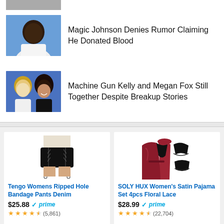[Figure (photo): Partially visible photo at top, cropped]
Magic Johnson Denies Rumor Claiming He Donated Blood
[Figure (photo): Photo of Magic Johnson in white shirt against blue background]
Machine Gun Kelly and Megan Fox Still Together Despite Breakup Stories
[Figure (photo): Photo of Machine Gun Kelly and Megan Fox against blue background]
[Figure (photo): Product image: Tengo Womens Ripped Hole Bandage Pants Denim - black denim shorts]
Tengo Womens Ripped Hole Bandage Pants Denim
$25.88 prime
(5,861)
[Figure (photo): Product image: SOLY HUX Women's Satin Pajama Set 4pcs Floral Lace - red/black lingerie set]
SOLY HUX Women's Satin Pajama Set 4pcs Floral Lace
$28.99 prime
(22,704)